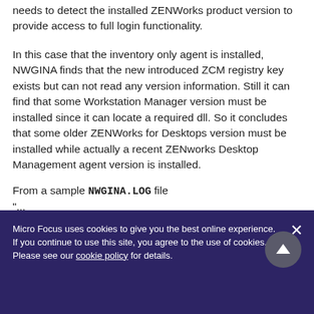needs to detect the installed ZENworks product version to provide access to full login functionality.
In this case that the inventory only agent is installed, NWGINA finds that the new introduced ZCM registry key exists but can not read any version information. Still it can find that some Workstation Manager version must be installed since it can locate a required dll. So it concludes that some older ZENWorks for Desktops version must be installed while actually a recent ZENworks Desktop Management agent version is installed.
From a sample NWGINA.LOG file
"...
Micro Focus uses cookies to give you the best online experience. If you continue to use this site, you agree to the use of cookies. Please see our cookie policy for details.